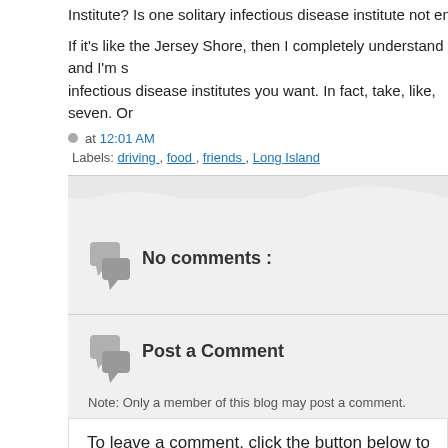Institute? Is one solitary infectious disease institute not enough to
If it's like the Jersey Shore, then I completely understand and I'm s infectious disease institutes you want. In fact, take, like, seven. Or
at 12:01 AM
Labels: driving , food , friends , Long Island
No comments :
Post a Comment
Note: Only a member of this blog may post a comment.
To leave a comment, click the button below to sign in
SIGN IN WITH GOOGLE